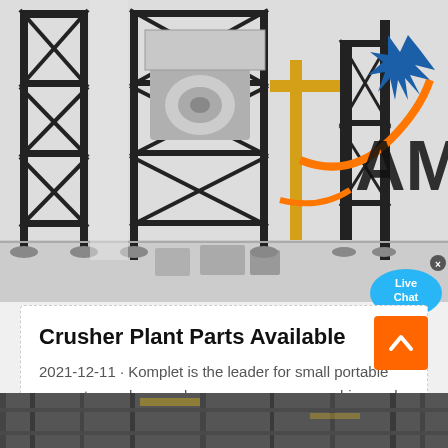[Figure (photo): Crusher plant machinery with metal scaffolding frames, industrial crusher/screener equipment, yellow and black structural supports, orange conveyor lines, and a partial company logo (AM) visible on the right side. Industrial machinery on a light background.]
[Figure (other): Live Chat speech bubble widget in blue color with 'Live Chat' text and a small X close button.]
Crusher Plant Parts Available
2021-12-11 · Komplet is the leader for small portable concrete crushers and screeners among crushing and screening companies. Email our…
[Figure (other): Orange back-to-top button with white upward chevron arrow.]
[Figure (photo): Bottom partial photo showing industrial crusher plant machinery, dark tones, steel framework visible.]